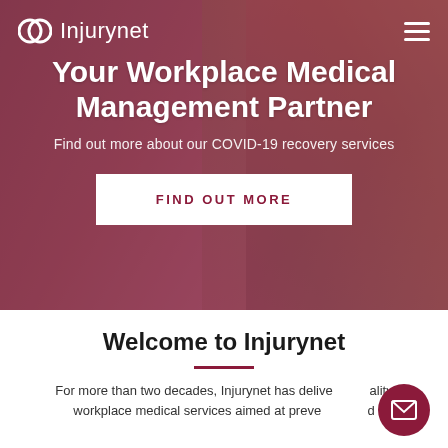[Figure (screenshot): Injurynet website hero section with background photo of two workers doing an elbow bump, overlaid with a dark red/mauve tint]
Injurynet (logo + navigation hamburger menu)
Your Workplace Medical Management Partner
Find out more about our COVID-19 recovery services
FIND OUT MORE
Welcome to Injurynet
For more than two decades, Injurynet has delivered quality workplace medical services aimed at preventing and